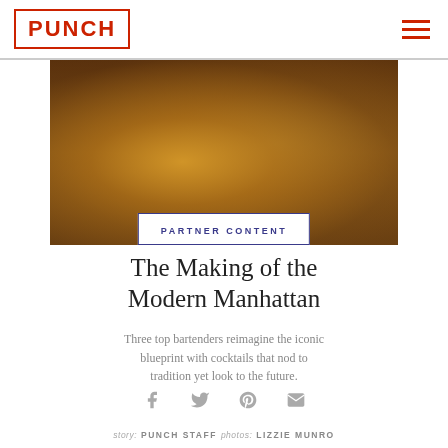PUNCH
[Figure (photo): Two lowball glasses filled with amber whiskey cocktails and large ice cubes with lemon peel garnish, on a dark slate surface]
PARTNER CONTENT
The Making of the Modern Manhattan
Three top bartenders reimagine the iconic blueprint with cocktails that nod to tradition yet look to the future.
story: PUNCH STAFF   photos: LIZZIE MUNRO